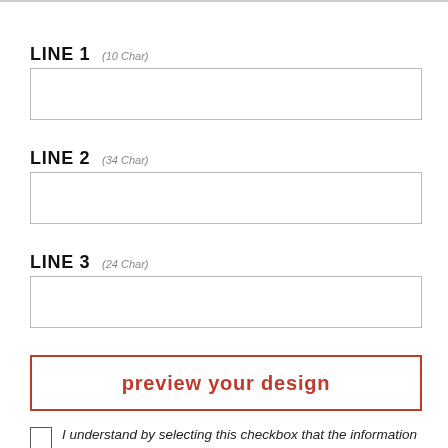LINE 1 (10 Char)
LINE 2 (34 Char)
LINE 3 (24 Char)
preview your design
I understand by selecting this checkbox that the information for this personalized item is correct, including all spelling, punctuation, and capitalization. Unfortunately we cannot be held